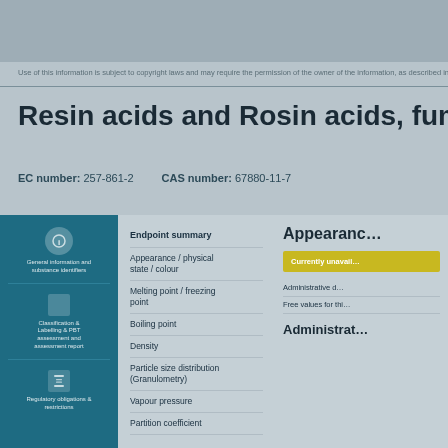Use of this information is subject to copyright laws and may require the permission of the owner of the information, as described in the ECHA Legal Notice.
Resin acids and Rosin acids, fumarated, e…
EC number: 257-861-2   CAS number: 67880-11-7
[Figure (infographic): Blue left panel with three icon blocks: info icon with label about general information; square icon about Classification & Labelling & PBT assessment; and a download icon about Regulatory obligations]
Endpoint summary
Appearance / physical state / colour
Melting point / freezing point
Boiling point
Density
Particle size distribution (Granulometry)
Vapour pressure
Partition coefficient
Appearance
Currently unavail…
Administrative d…
Free values for this…
Administrat…